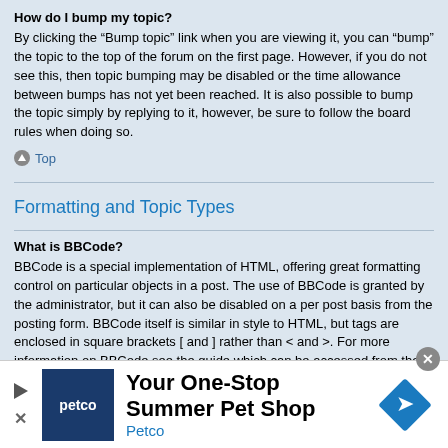How do I bump my topic?
By clicking the “Bump topic” link when you are viewing it, you can “bump” the topic to the top of the forum on the first page. However, if you do not see this, then topic bumping may be disabled or the time allowance between bumps has not yet been reached. It is also possible to bump the topic simply by replying to it, however, be sure to follow the board rules when doing so.
Top
Formatting and Topic Types
What is BBCode?
BBCode is a special implementation of HTML, offering great formatting control on particular objects in a post. The use of BBCode is granted by the administrator, but it can also be disabled on a per post basis from the posting form. BBCode itself is similar in style to HTML, but tags are enclosed in square brackets [ and ] rather than < and >. For more information on BBCode see the guide which can be accessed from the posting page.
Top
[Figure (infographic): Petco advertisement banner: Your One-Stop Summer Pet Shop]